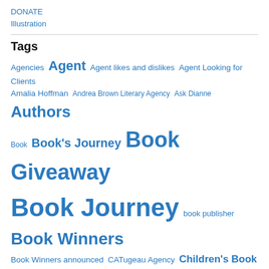DONATE
Illustration
Tags
Agencies Agent Agent likes and dislikes Agent Looking for Clients Amalia Hoffman Andrea Brown Literary Agency Ask Dianne Authors Book Book's Journey Book Giveaway Book Journey book publisher Book Winners Book Winners announced CATugeau Agency Children's Book Academy Children's Books Children Publishing Industry changes Christina Tugeau Christy Tugeau Ewers conference contest critiques Darlene Beck-Jacobson David L Harrison dianne Ochiltree Doris Ettlinger Dr. Mira Reisberg Editors Eileen Spinelli